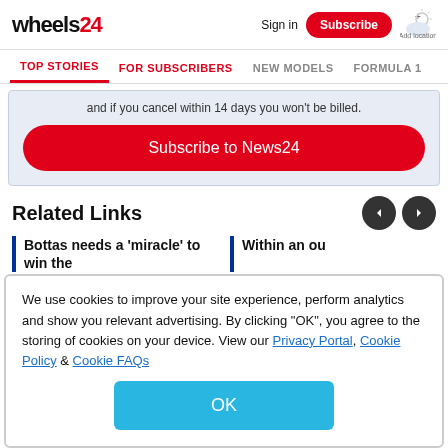wheels24 | Sign in | Subscribe | Add location
TOP STORIES | FOR SUBSCRIBERS | NEW MODELS | FORMULA 1
and if you cancel within 14 days you won't be billed.
Subscribe to News24
Related Links
Bottas needs a 'miracle' to win the
Within an ou
We use cookies to improve your site experience, perform analytics and show you relevant advertising. By clicking "OK", you agree to the storing of cookies on your device. View our Privacy Portal, Cookie Policy & Cookie FAQs
OK